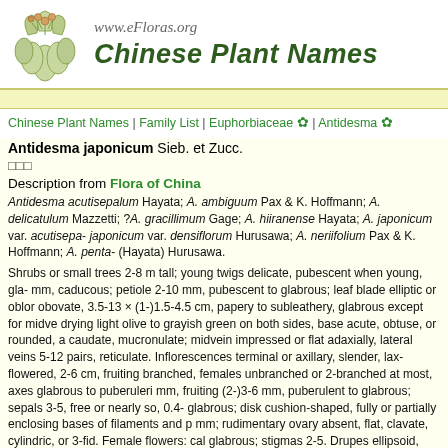www.eFloras.org Chinese Plant Names
Chinese Plant Names | Family List | Euphorbiaceae ✿ | Antidesma ✿
Antidesma japonicum Sieb. et Zucc.
□□□
Description from Flora of China
Antidesma acutisepalum Hayata; A. ambiguum Pax & K. Hoffmann; A. delicatulum Mazzetti; ?A. gracillimum Gage; A. hiiranense Hayata; A. japonicum var. acutisepalum; A. japonicum var. densiflorum Hurusawa; A. neriifolium Pax & K. Hoffmann; A. pentandrum (Hayata) Hurusawa.
Shrubs or small trees 2-8 m tall; young twigs delicate, pubescent when young, glabrous later. Stipules caducous; petiole 2-10 mm, pubescent to glabrous; leaf blade elliptic or oblong to obovate, 3.5-13 × (1-)1.5-4.5 cm, papery to subleathery, glabrous except for midvein, drying light olive to grayish green on both sides, base acute, obtuse, or rounded, apex caudate, mucronulate; midvein impressed or flat adaxially, lateral veins 5-12 pairs, reticulate. Inflorescences terminal or axillary, slender, lax-flowered, 2-6 cm, fruiting branched, females unbranched or 2-branched at most, axes glabrous to puberulent. Pedicel 1 mm, fruiting (2-)3-6 mm, puberulent to glabrous; sepals 3-5, free or nearly so, 0.4-1 mm, glabrous; disk cushion-shaped, fully or partially enclosing bases of filaments and pistil, 0.5 mm; rudimentary ovary absent, flat, clavate, cylindric, or 3-fid. Female flowers: calyx glabrous; stigmas 2-5. Drupes ellipsoid, laterally compressed, 5-6(-8) × 4-6(-8) mm. Fl. Jun-Sep.
The seeds yield up to 48% oil.
Antidesma ambiguum is a new synonym here. In the key accompanying the note...